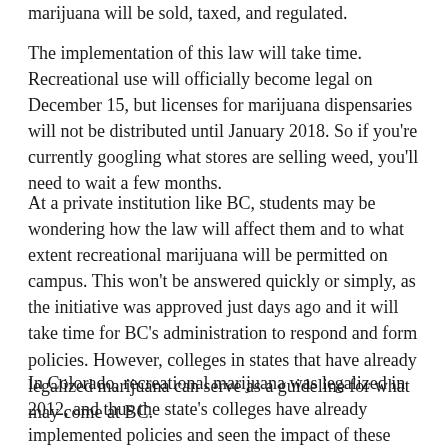marijuana will be sold, taxed, and regulated.
The implementation of this law will take time. Recreational use will officially become legal on December 15, but licenses for marijuana dispensaries will not be distributed until January 2018. So if you're currently googling what stores are selling weed, you'll need to wait a few months.
At a private institution like BC, students may be wondering how the law will affect them and to what extent recreational marijuana will be permitted on campus. This won't be answered quickly or simply, as the initiative was approved just days ago and it will take time for BC's administration to respond and form policies. However, colleges in states that have already legalized marijuana can serve as a guideline for what may come at BC.
In Colorado, recreational marijuana was legalized in 2012, and thus the state's colleges have already implemented policies and seen the impact of these laws. There tends to be